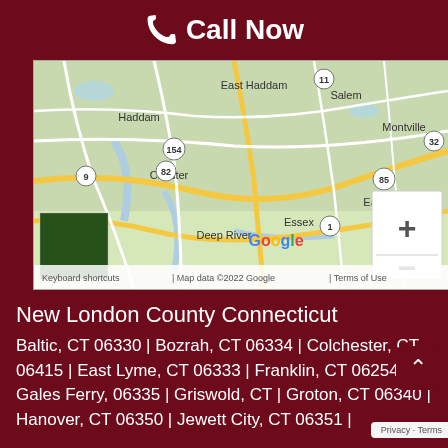Call Now
[Figure (map): Google Map showing Connecticut shoreline area including East Haddam, Haddam, Chester, Deep River, Essex, Salem, Montville, East Lyme and surrounding towns with route markers 154, 82, 9, 85, 11, 32, 1. Shows zoom controls (+/-). Footer shows: Keyboard shortcuts | Map data ©2022 Google | Terms of Use]
New London County Connecticut
Baltic, CT 06330 | Bozrah, CT 06334 | Colchester, CT 06415 | East Lyme, CT 06333 | Franklin, CT 06254 | Gales Ferry, 06335 | Griswold, CT | Groton, CT 06340 | Hanover, CT 06350 | Jewett City, CT 06351 |